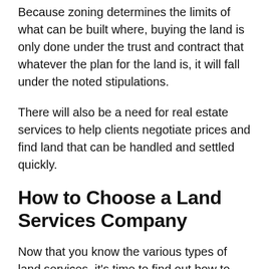Because zoning determines the limits of what can be built where, buying the land is only done under the trust and contract that whatever the plan for the land is, it will fall under the noted stipulations.
There will also be a need for real estate services to help clients negotiate prices and find land that can be handled and settled quickly.
How to Choose a Land Services Company
Now that you know the various types of land services, it's time to find out how to choose a reliable land service.